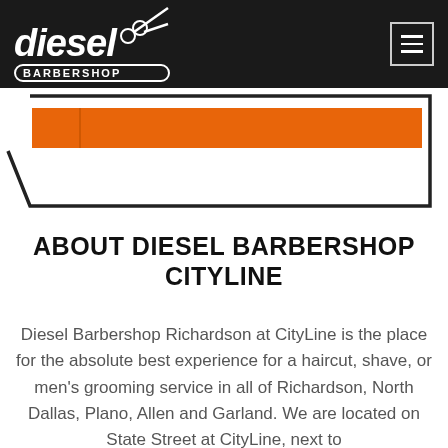diesel BARBERSHOP
[Figure (other): Diesel Barbershop logo with scissors icon on dark background header, and orange banner element below with tag/arrow shape outline]
ABOUT DIESEL BARBERSHOP CITYLINE
Diesel Barbershop Richardson at CityLine is the place for the absolute best experience for a haircut, shave, or men's grooming service in all of Richardson, North Dallas, Plano, Allen and Garland. We are located on State Street at CityLine, next to